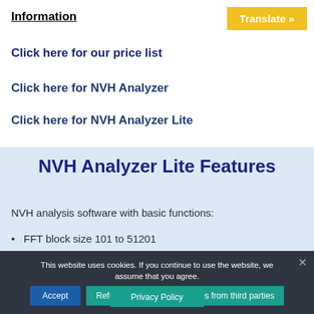Information
Translate »
Click here for our price list
Click here for NVH Analyzer
Click here for NVH Analyzer Lite
NVH Analyzer Lite Features
NVH analysis software with basic functions:
FFT block size 101 to 51201
This website uses cookies. If you continue to use the website, we assume that you agree.
Accept
Refuse non-functional cookies from third parties
Privacy Policy